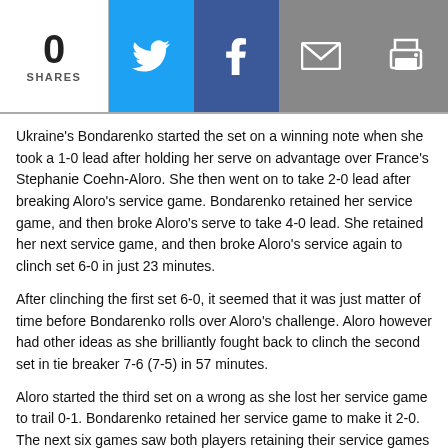0 SHARES
Ukraine's Bondarenko started the set on a winning note when she took a 1-0 lead after holding her serve on advantage over France's Stephanie Coehn-Aloro. She then went on to take 2-0 lead after breaking Aloro's service game. Bondarenko retained her service game, and then broke Aloro's serve to take 4-0 lead. She retained her next service game, and then broke Aloro's service again to clinch set 6-0 in just 23 minutes.
After clinching the first set 6-0, it seemed that it was just matter of time before Bondarenko rolls over Aloro's challenge. Aloro however had other ideas as she brilliantly fought back to clinch the second set in tie breaker 7-6 (7-5) in 57 minutes.
Aloro started the third set on a wrong as she lost her service game to trail 0-1. Bondarenko retained her service game to make it 2-0. The next six games saw both players retaining their service games to make 5-3 in Bondarenko's favour. Aloro however failed to retain her service game to lose the set and match 6-3.
In other qualifying matches, Germany's Julia Goerges defeated Slovakia's Janette Husarova 6-4, 6-1; Hungary's Agnes Szavay defeated Germany's Andrea Petkovic 6-3, 6-2 while Luxembourg's Anne Kremer defeated Argentina's Ma Emilia Salerni 6-4, 7-6 (7-5) to book their berths in the main draw.